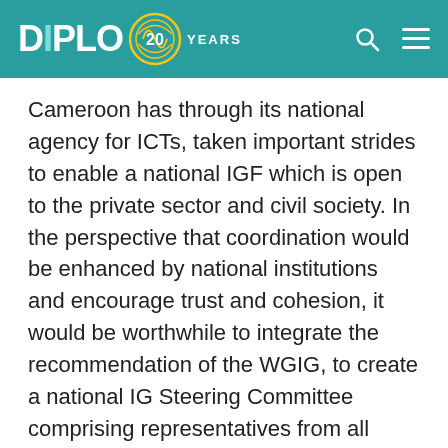DiPLO 20 YEARS
Cameroon has through its national agency for ICTs, taken important strides to enable a national IGF which is open to the private sector and civil society. In the perspective that coordination would be enhanced by national institutions and encourage trust and cohesion, it would be worthwhile to integrate the recommendation of the WGIG, to create a national IG Steering Committee comprising representatives from all stakeholders groups. Law n°2010/012 identifies key institutions which play an important role in the IG landscape in Cameroon. To these could be added